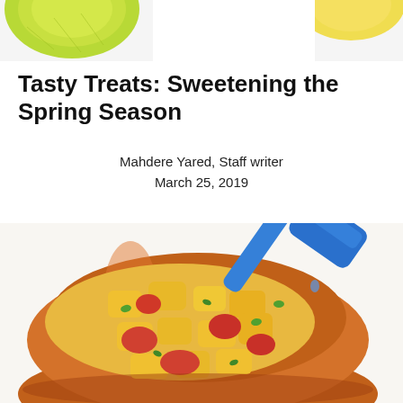[Figure (photo): Top portion of a lime or green citrus fruit against a white background, cropped at top of page]
Tasty Treats: Sweetening the Spring Season
Mahdere Yared, Staff writer
March 25, 2019
[Figure (photo): A terracotta bowl filled with colorful fruit salsa — diced mango, tomato, and green herbs — with a blue silicone spatula resting in the bowl]